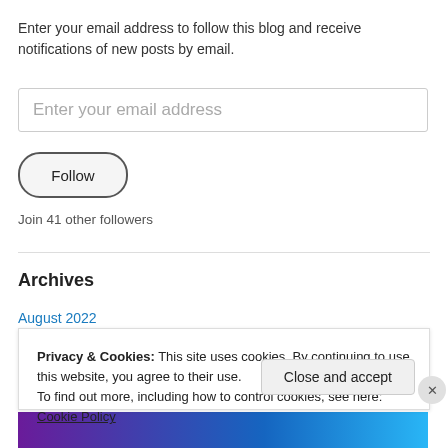Enter your email address to follow this blog and receive notifications of new posts by email.
Enter your email address
Follow
Join 41 other followers
Archives
August 2022
Privacy & Cookies: This site uses cookies. By continuing to use this website, you agree to their use.
To find out more, including how to control cookies, see here: Cookie Policy
Close and accept